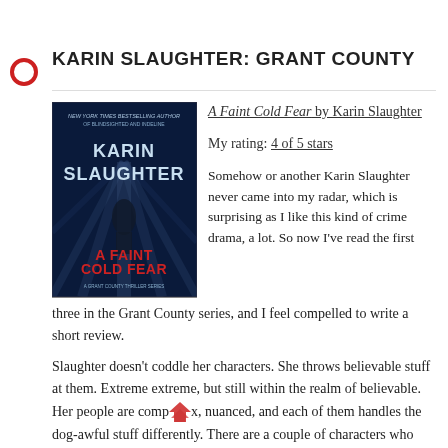KARIN SLAUGHTER: GRANT COUNTY
[Figure (illustration): Book cover of 'A Faint Cold Fear' by Karin Slaughter, dark blue cover with the author name and title in large text, New York Times Bestselling Author tagline at top]
A Faint Cold Fear by Karin Slaughter
My rating: 4 of 5 stars
Somehow or another Karin Slaughter never came into my radar, which is surprising as I like this kind of crime drama, a lot. So now I've read the first three in the Grant County series, and I feel compelled to write a short review.
Slaughter doesn't coddle her characters. She throws believable stuff at them. Extreme extreme, but still within the realm of believable. Her people are complex, nuanced, and each of them handles the dog-awful stuff differently. There are a couple of characters who could